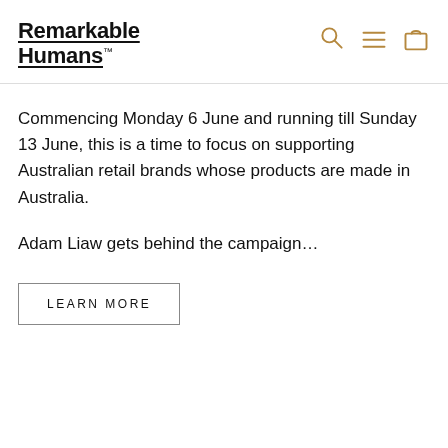Remarkable Humans™
Commencing Monday 6 June and running till Sunday 13 June, this is a time to focus on supporting Australian retail brands whose products are made in Australia.
Adam Liaw gets behind the campaign...
LEARN MORE